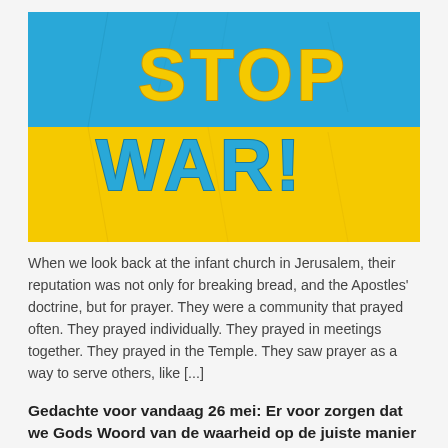[Figure (illustration): An image of the Ukrainian flag colors (blue top half, yellow bottom half) with the text STOP WAR! written in large bold yellow letters on the blue portion and blue letters overlapping the yellow portion. The background has a cracked texture.]
When we look back at the infant church in Jerusalem, their reputation was not only for breaking bread, and the Apostles' doctrine, but for prayer. They were a community that prayed often. They prayed individually. They prayed in meetings together. They prayed in the Temple. They saw prayer as a way to serve others, like [...]
Gedachte voor vandaag 26 mei: Er voor zorgen dat we Gods Woord van de waarheid op de juiste manier